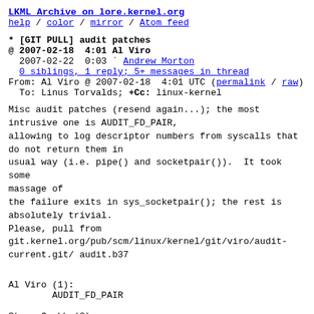LKML Archive on lore.kernel.org
help / color / mirror / Atom feed
* [GIT PULL] audit patches
@ 2007-02-18  4:01 Al Viro
  2007-02-22  0:03 ` Andrew Morton
  0 siblings, 1 reply; 5+ messages in thread
From: Al Viro @ 2007-02-18  4:01 UTC (permalink / raw)
  To: Linus Torvalds; +Cc: linux-kernel
Misc audit patches (resend again...); the most
intrusive one is AUDIT_FD_PAIR,
allowing to log descriptor numbers from syscalls that
do not return them in
usual way (i.e. pipe() and socketpair()).  It took some
massage of
the failure exits in sys_socketpair(); the rest is
absolutely trivial.
Please, pull from
git.kernel.org/pub/scm/linux/kernel/git/viro/audit-
current.git/ audit.b37
Al Viro (1):
        AUDIT_FD_PAIR

Steve Grubb (2):
        minor update to rule add/delete messages (ver 2)
        audit config lockdown
fs/pipe.c                |   7 ++